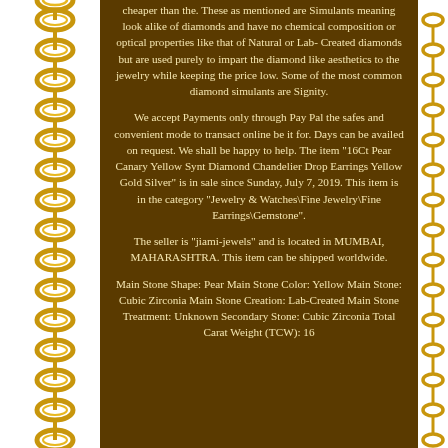cheaper than the. These as mentioned are Simulants meaning look alike of diamonds and have no chemical composition or optical properties like that of Natural or Lab- Created diamonds but are used purely to impart the diamond like aesthetics to the jewelry while keeping the price low. Some of the most common diamond simulants are Signity.
We accept Payments only through Pay Pal the safes and convenient mode to transact online be it for. Days can be availed on request. We shall be happy to help. The item "16Ct Pear Canary Yellow Synt Diamond Chandelier Drop Earrings Yellow Gold Silver" is in sale since Sunday, July 7, 2019. This item is in the category "Jewelry & Watches\Fine Jewelry\Fine Earrings\Gemstone".
The seller is "jiami-jewels" and is located in MUMBAI, MAHARASHTRA. This item can be shipped worldwide.
Main Stone Shape: Pear Main Stone Color: Yellow Main Stone: Cubic Zirconia Main Stone Creation: Lab-Created Main Stone Treatment: Unknown Secondary Stone: Cubic Zirconia Total Carat Weight (TCW): 16